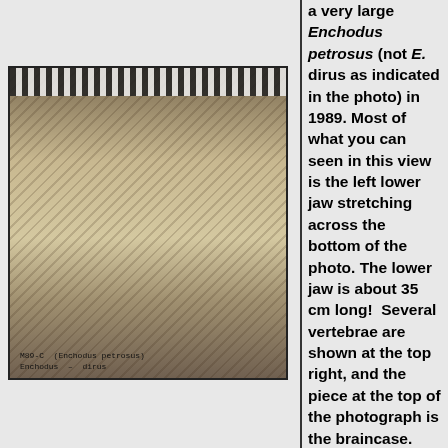[Figure (photo): Photograph of fossil specimen of a large Enchodus petrosus showing the left lower jaw stretching across the bottom of the photo, vertebrae at top right, and a braincase at the top of the photograph. Label at bottom reads specimen number and location.]
a very large Enchodus petrosus (not E. dirus as indicated in the photo) in 1989. Most of what you can seen in this view is the left lower jaw stretching across the bottom of the photo. The lower jaw is about 35 cm long!  Several vertebrae are shown at the top right, and the piece at the top of the photograph is the braincase.